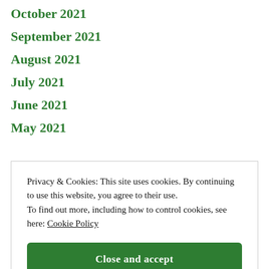October 2021
September 2021
August 2021
July 2021
June 2021
May 2021
Privacy & Cookies: This site uses cookies. By continuing to use this website, you agree to their use.
To find out more, including how to control cookies, see here: Cookie Policy
Close and accept